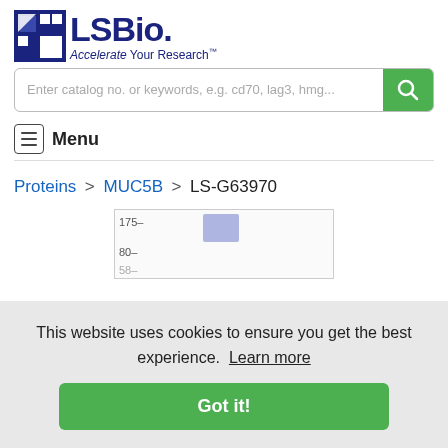[Figure (logo): LSBio logo with navy blue icon and text 'LSBio' with tagline 'Accelerate Your Research']
Enter catalog no. or keywords, e.g. cd70, lag3, hmg...
Menu
Proteins > MUC5B > LS-G63970
[Figure (other): Partial western blot gel image showing band at 175 kDa marker with blue/purple band visible]
This website uses cookies to ensure you get the best experience. Learn more
Got it!